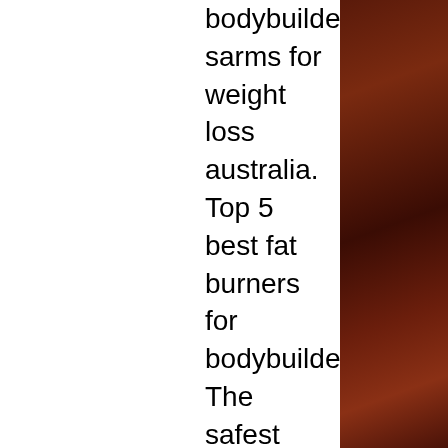bodybuilders, sarms for weight loss australia. Top 5 best fat burners for bodybuilders. The safest way to use body fat burners When used correctly, fat burners can prevent you from having a fat gain, sarms australia fat burner. They can also help you to lose fat, as well as improve body composition through decreased body fat, sarms crossfit cycle. Top 5 safest ways to use body fat burners. What is the best fat burner for bodybuilders? There is not a single best fat burner for bodybuilders since there are so many best fat burners out there, fat burner australia sarms. When it comes to fat burners, that is always going to have to be subjective and dependent on body type and genetics, sarms for fat loss reddit. Bottom line: If you want to use them, try whichever fat burner works best for your body type, or at least try it for a month to see if it works for you. Top 5 safe ways to use body fat burners, sarms for fat burning. For the most part, you can simply
[Figure (photo): Dark reddish-brown wood panel or curtain texture on the right side of the page]